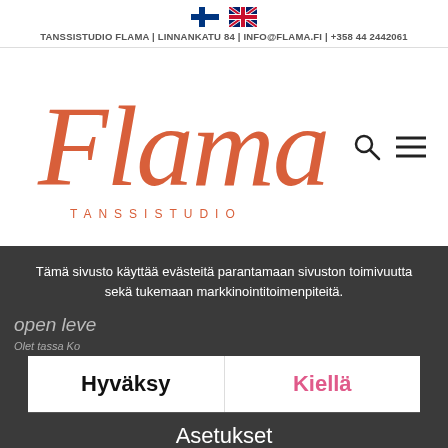TANSSISTUDIO FLAMA | LINNANKATU 84 | INFO@FLAMA.FI | +358 44 2442061
[Figure (logo): Flama Tanssistudio logo in orange/salmon script font with TANSSISTUDIO in spaced uppercase below, plus search icon and hamburger menu icon]
Tämä sivusto käyttää evästeitä parantamaan sivuston toimivuutta sekä tukemaan markkinointitoimenpiteitä.
open leve
Olet tassa  Ko
Hyväksy
Kiellä
Asetukset
Valitun kaltaisia tuotteita ei löydy